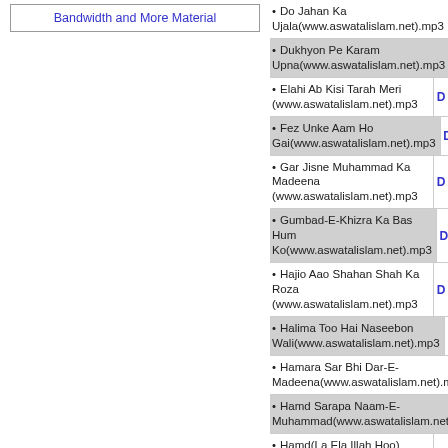Bandwidth and More Material
Do Jahan Ka Ujala(www.aswatalislam.net).mp3
Dukhyon Pe Karam Upna(www.aswatalislam.net).mp3
Elahi Ab Kisi Tarah Meri (www.aswatalislam.net).mp3
Fez Unke Aam Ho Gai(www.aswatalislam.net).mp3
Gar Jisne Muhammad Ka Madeena (www.aswatalislam.net).mp3
Gumbad-E-Khizra Ka Bas Hum Ko(www.aswatalislam.net).mp3
Hajio Aao Shahan Shah Ka Roza (www.aswatalislam.net).mp3
Halima Too Hai Naseebon Wali(www.aswatalislam.net).mp3
Hamara Sar Bhi Dar-E-Madeena(www.aswatalislam.net).mp3
Hamd Sarapa Naam-E-Muhammad(www.aswatalislam.net).mp3
Hamd(La Ela Illah Hoo) (www.aswatalislam.net).mp3
Herz-E-Jan Zikr-E-Shafat Kijia(www.aswatalislam.net).mp3
Ho Karam Tajdare(www.aswatalislam.net).mp3
Hum Sowe Hashar Chale Gai(www.aswatalislam.net).mp3